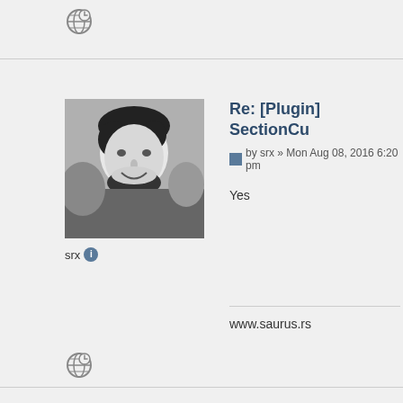[Figure (other): Globe/website icon at top]
[Figure (photo): Black and white portrait photo of a bearded man smiling]
srx ℹ
Re: [Plugin] SectionCu
by srx » Mon Aug 08, 2016 6:20 pm
Yes
www.saurus.rs
[Figure (other): Globe/website icon at bottom]